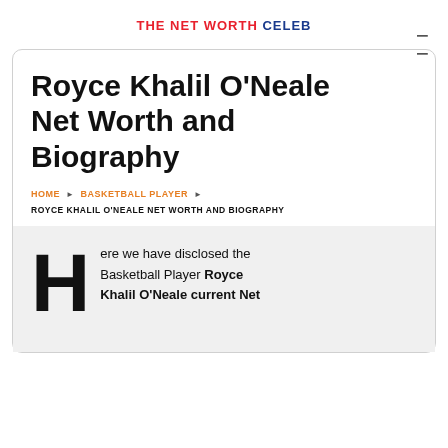THE NET WORTH CELEB
Royce Khalil O'Neale Net Worth and Biography
HOME ▶ BASKETBALL PLAYER ▶
ROYCE KHALIL O'NEALE NET WORTH AND BIOGRAPHY
Here we have disclosed the Basketball Player Royce Khalil O'Neale current Net